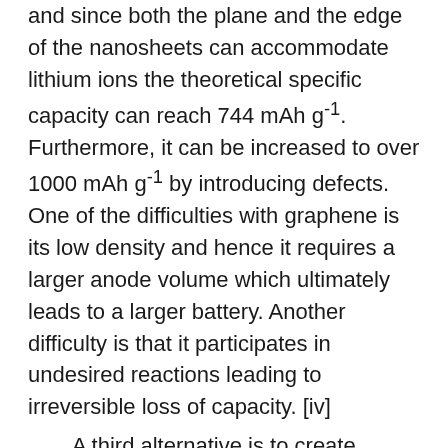and since both the plane and the edge of the nanosheets can accommodate lithium ions the theoretical specific capacity can reach 744 mAh g⁻¹. Furthermore, it can be increased to over 1000 mAh g⁻¹ by introducing defects. One of the difficulties with graphene is its low density and hence it requires a larger anode volume which ultimately leads to a larger battery. Another difficulty is that it participates in undesired reactions leading to irreversible loss of capacity. [iv]
A third alternative is to create nanosized pores in carbonaceous materials. One approach is to make hollow spheres with a double-shelled nanostructure which increases the surface area and thus the specific capacity. The specific capacity for such a structure has been reported to reach 920 mAh g⁻¹. However, the increased surface area inevitably results in obstacles and defects which may trap lithium ions which in turn causes an irreversible capacity loss. [iv]